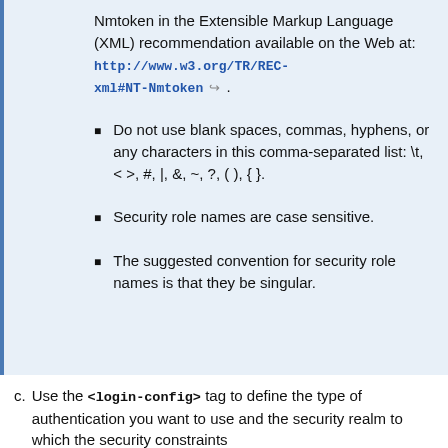Nmtoken in the Extensible Markup Language (XML) recommendation available on the Web at: http://www.w3.org/TR/REC-xml#NT-Nmtoken .
Do not use blank spaces, commas, hyphens, or any characters in this comma-separated list: \t, < >, #, |, &, ~, ?, ( ), { }.
Security role names are case sensitive.
The suggested convention for security role names is that they be singular.
Use the <login-config> tag to define the type of authentication you want to use and the security realm to which the security constraints